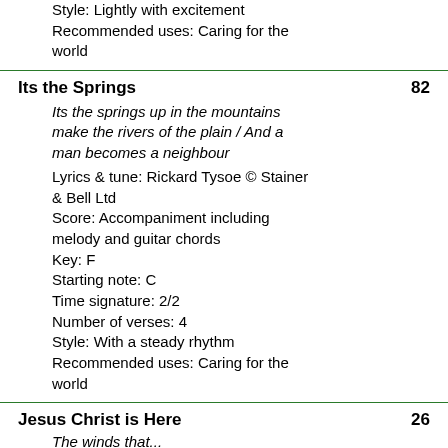Style: Lightly with excitement
Recommended uses: Caring for the world
Its the Springs	82
Its the springs up in the mountains make the rivers of the plain / And a man becomes a neighbour
Lyrics & tune: Rickard Tysoe © Stainer & Bell Ltd
Score: Accompaniment including melody and guitar chords
Key: F
Starting note: C
Time signature: 2/2
Number of verses: 4
Style: With a steady rhythm
Recommended uses: Caring for the world
Jesus Christ is Here	26